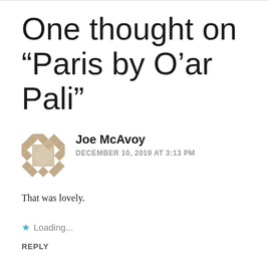One thought on “Paris by O’ar Pali”
[Figure (illustration): Decorative avatar icon made of diamond/square shapes in a tan/beige color pattern, resembling a quilt or mosaic design]
Joe McAvoy
DECEMBER 10, 2019 AT 3:13 PM
That was lovely.
★ Loading...
REPLY